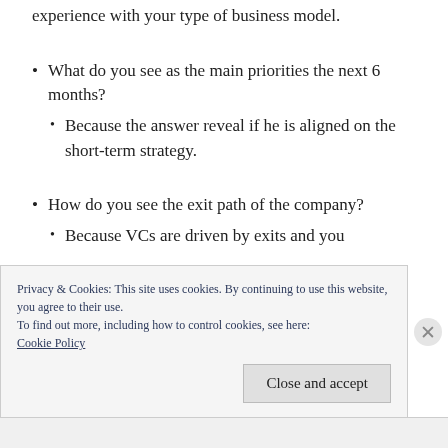experience with your type of business model.
What do you see as the main priorities the next 6 months?
Because the answer reveal if he is aligned on the short-term strategy.
How do you see the exit path of the company?
Because VCs are driven by exits and you
Privacy & Cookies: This site uses cookies. By continuing to use this website, you agree to their use.
To find out more, including how to control cookies, see here: Cookie Policy
Close and accept